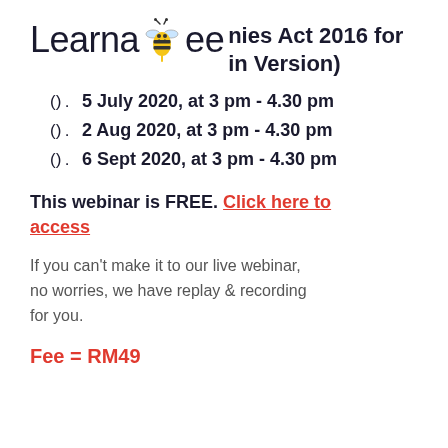Learnabee — nies Act 2016 for in Version)
() . 5 July 2020, at 3 pm - 4.30 pm
() . 2 Aug 2020, at 3 pm - 4.30 pm
() . 6 Sept 2020, at 3 pm - 4.30 pm
This webinar is FREE. Click here to access
If you can't make it to our live webinar, no worries, we have replay & recording for you.
Fee = RM49